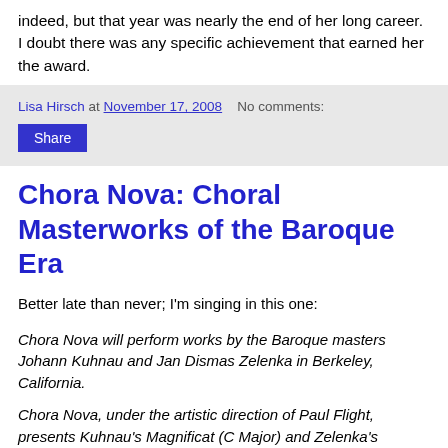indeed, but that year was nearly the end of her long career. I doubt there was any specific achievement that earned her the award.
Lisa Hirsch at November 17, 2008   No comments:
Share
Chora Nova: Choral Masterworks of the Baroque Era
Better late than never; I'm singing in this one:
Chora Nova will perform works by the Baroque masters Johann Kuhnau and Jan Dismas Zelenka in Berkeley, California.
Chora Nova, under the artistic direction of Paul Flight, presents Kuhnau's Magnificat (C Major) and Zelenka's Requiem for Kaiser Joseph I. Both works are scored for chorus, soloists, and orchestra.